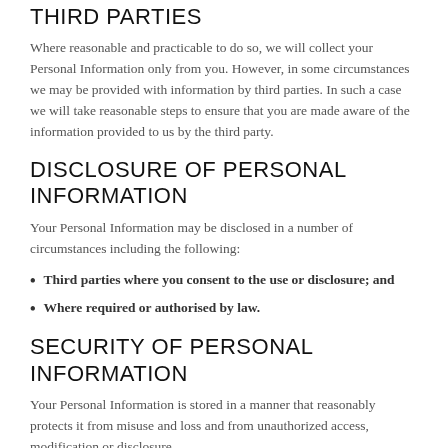THIRD PARTIES
Where reasonable and practicable to do so, we will collect your Personal Information only from you. However, in some circumstances we may be provided with information by third parties. In such a case we will take reasonable steps to ensure that you are made aware of the information provided to us by the third party.
DISCLOSURE OF PERSONAL INFORMATION
Your Personal Information may be disclosed in a number of circumstances including the following:
Third parties where you consent to the use or disclosure; and
Where required or authorised by law.
SECURITY OF PERSONAL INFORMATION
Your Personal Information is stored in a manner that reasonably protects it from misuse and loss and from unauthorized access, modification or disclosure.
When your Personal Information is no longer needed for the